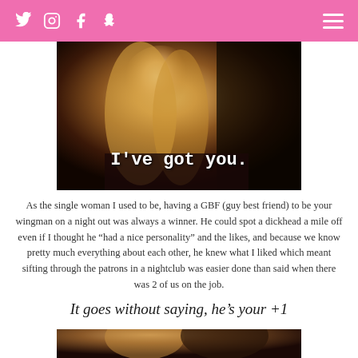Social icons (Twitter, Instagram, Facebook, Snapchat) and hamburger menu
[Figure (photo): Photo of a blonde woman smiling, with text overlay reading "I've got you." in typewriter font on dark background]
As the single woman I used to be, having a GBF (guy best friend) to be your wingman on a night out was always a winner. He could spot a dickhead a mile off even if I thought he “had a nice personality” and the likes, and because we know pretty much everything about each other, he knew what I liked which meant sifting through the patrons in a nightclub was easier done than said when there was 2 of us on the job.
It goes without saying, he’s your +1
[Figure (photo): Partial photo of two people, bottom of page, showing heads/shoulders from behind]